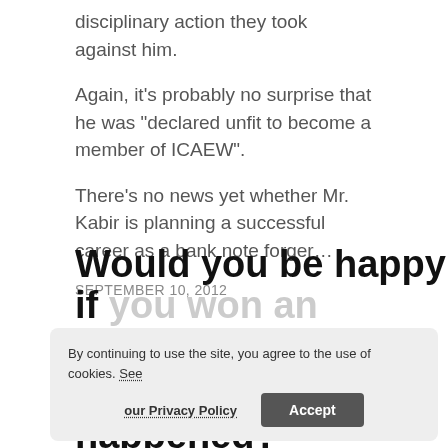disciplinary action they took against him.
Again, it's probably no surprise that he was "declared unfit to become a member of ICAEW".
There's no news yet whether Mr. Kabir is planning a successful career as a bank note forger…
SEPTEMBER 10, 2012
Would you be happy if you won an Olympic medal and this happened?
By continuing to use the site, you agree to the use of cookies. See our Privacy Policy  Accept